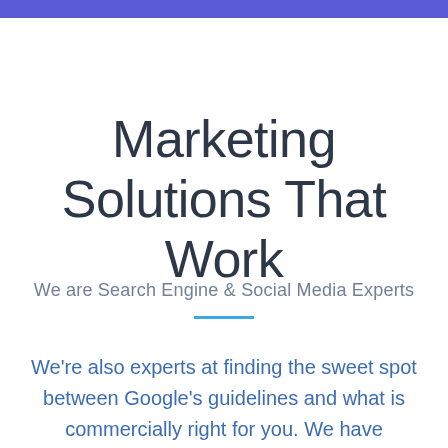Marketing Solutions That Work
We are Search Engine & Social Media Experts
We're also experts at finding the sweet spot between Google's guidelines and what is commercially right for you. We have progressive theories on search as a tool for retention of customers, not just for acquisition. And whatever we do, we always measure, always analyze and